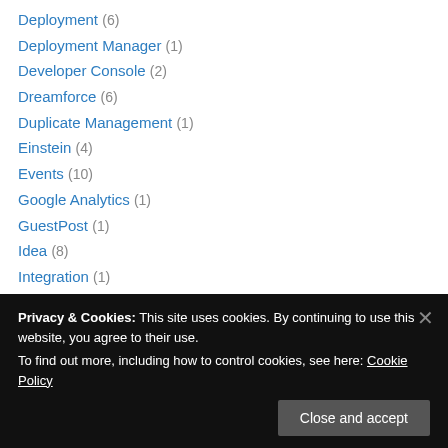Deployment (6)
Deployment Manager (1)
Developer Console (2)
Dreamforce (6)
Duplicate Management (1)
Einstein (4)
Events (10)
Google Analytics (1)
GuestPost (1)
Idea (8)
Integration (1)
Interviews (19)
Lightning App Builder (4)
Lightning Data Service (1)
Privacy & Cookies: This site uses cookies. By continuing to use this website, you agree to their use. To find out more, including how to control cookies, see here: Cookie Policy
Close and accept